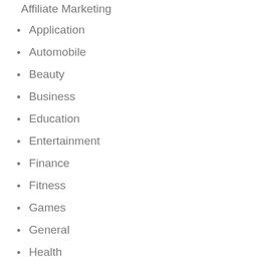Affiliate Marketing
Application
Automobile
Beauty
Business
Education
Entertainment
Finance
Fitness
Games
General
Health
Home